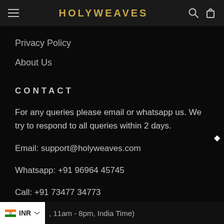HOLYWEAVES
Privacy Policy
About Us
CONTACT
For any queries please email or whatsapp us. We try to respond to all queries within 2 days.
Email: support@holyweaves.com
Whatsapp: +91 96964 45745
Call: +91 73477 34773
INR  , 11am - 8pm, India Time)